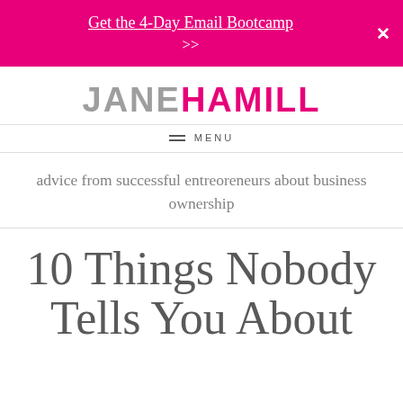Get the 4-Day Email Bootcamp >>
JANEHAMILL
MENU
advice from successful entreoreneurs about business ownership
10 Things Nobody Tells You About